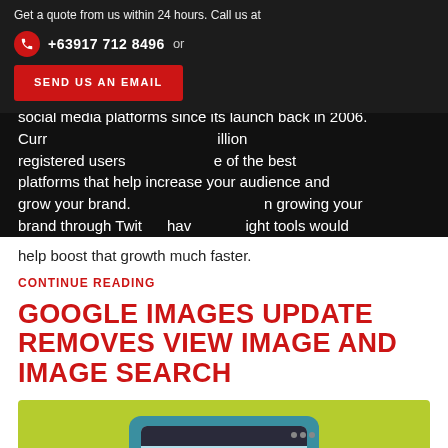social media platforms since its launch back in 2006. Currently boasting at least 1 billion registered users, Twitter is one of the best platforms that help increase your audience and grow your brand. As a businessman growing your brand through Twitter, having the right tools would help boost that growth much faster.
[Figure (screenshot): Popup overlay showing 'Get a quote from us within 24 hours. Call us at' with phone number +63917 712 8496, 'or' text, and a red 'SEND US AN EMAIL' button]
CONTINUE READING
GOOGLE IMAGES UPDATE REMOVES VIEW IMAGE AND IMAGE SEARCH
[Figure (illustration): Green background with a teal monitor/computer illustration showing a browser window]